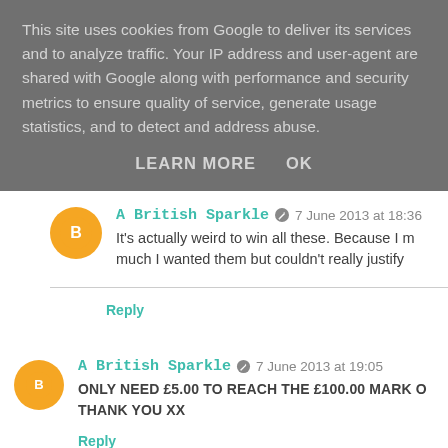This site uses cookies from Google to deliver its services and to analyze traffic. Your IP address and user-agent are shared with Google along with performance and security metrics to ensure quality of service, generate usage statistics, and to detect and address abuse.
LEARN MORE    OK
A British Sparkle  7 June 2013 at 18:36
It's actually weird to win all these. Because I m... much I wanted them but couldn't really justify
Reply
A British Sparkle  7 June 2013 at 19:05
ONLY NEED £5.00 TO REACH THE £100.00 MARK O... THANK YOU XX
Reply